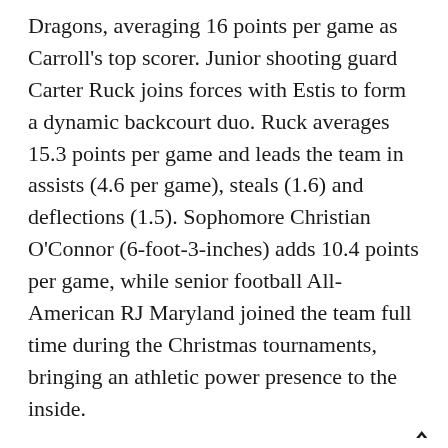Dragons, averaging 16 points per game as Carroll's top scorer. Junior shooting guard Carter Ruck joins forces with Estis to form a dynamic backcourt duo. Ruck averages 15.3 points per game and leads the team in assists (4.6 per game), steals (1.6) and deflections (1.5). Sophomore Christian O'Connor (6-foot-3-inches) adds 10.4 points per game, while senior football All-American RJ Maryland joined the team full time during the Christmas tournaments, bringing an athletic power presence to the inside.
Markley says his team is learning to develop toughness to overcome any athleticism they may lack as a team.
“For us, the question is ‘Are we going to guard?’” he says. “If we can guard and we can rebound, then we’ve got a great chance.”